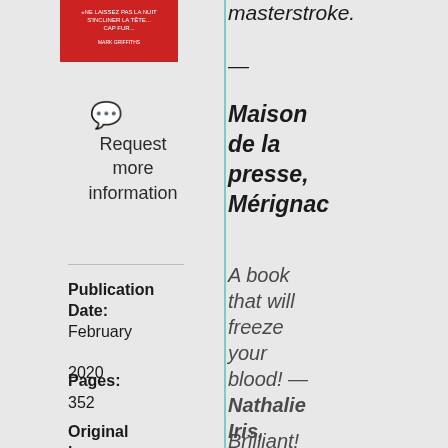[Figure (photo): Red book cover thumbnail in top left column]
Request more information
Publication Date:
February 2020
Pages:
352
Original language
masterstroke.
—
Maison de la presse, Mérignac
A book that will freeze your blood! — Nathalie Iris, Télématin
Brilliant! You can't